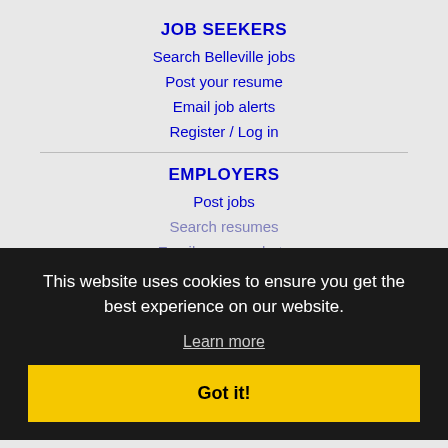JOB SEEKERS
Search Belleville jobs
Post your resume
Email job alerts
Register / Log in
EMPLOYERS
Post jobs
Search resumes
Email resume alerts
Advertise
IMMIGRATION SPECIALISTS
Post jobs
Immigration FAQs
Learn more
This website uses cookies to ensure you get the best experience on our website.
Learn more
Got it!